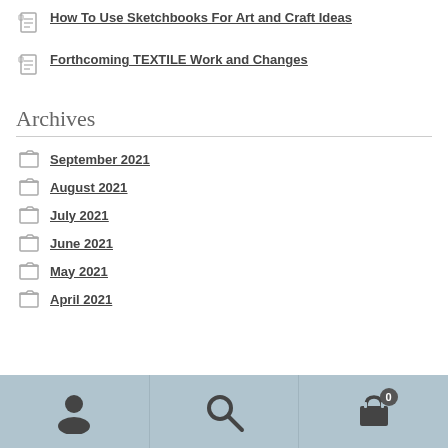How To Use Sketchbooks For Art and Craft Ideas
Forthcoming TEXTILE Work and Changes
Archives
September 2021
August 2021
July 2021
June 2021
May 2021
April 2021